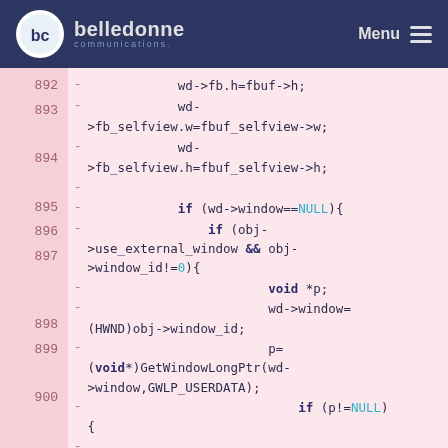belledonne communications — Menu
[Figure (screenshot): Source code diff view showing lines 892-902 of C code with line numbers on the left, minus signs indicating removed lines, and syntax highlighting on a pink background. Code includes window buffer assignments, NULL checks, external window handling with HWND cast, GetWindowLongPtr call, and ms_error string.]